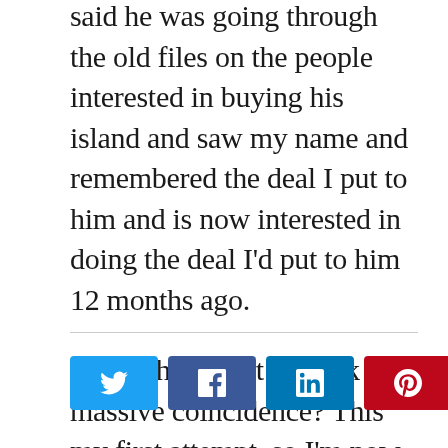said he was going through the old files on the people interested in buying his island and saw my name and remembered the deal I put to him and is now interested in doing the deal I'd put to him 12 months ago.

Is this the Secret at work or a massive coincidence? This my first attempt, so I'm now working on the 20 Million I want, you be the judge.
[Figure (other): Social sharing buttons: Twitter (blue), Facebook (dark blue), LinkedIn (blue), Pinterest (red)]